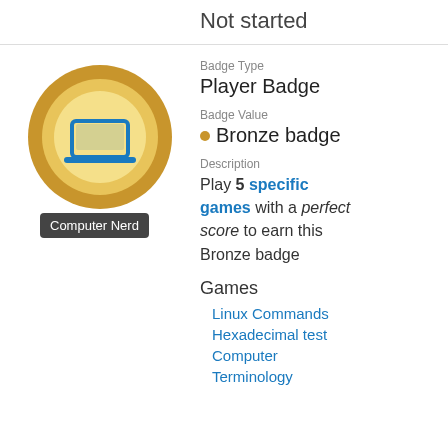Not started
[Figure (illustration): Computer Nerd badge icon: gold circular badge with a blue laptop icon in the center, with a dark tooltip label reading 'Computer Nerd']
Badge Type
Player Badge
Badge Value
Bronze badge
Description
Play 5 specific games with a perfect score to earn this Bronze badge
Games
Linux Commands
Hexadecimal test
Computer
Terminology